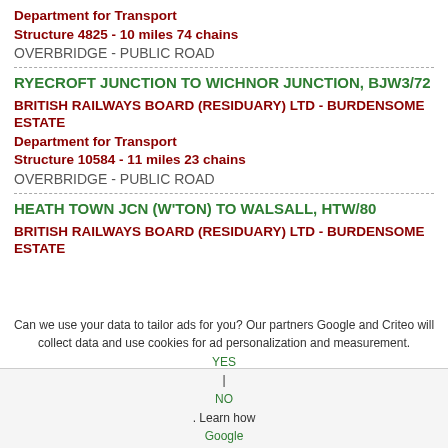Department for Transport
Structure 4825 - 10 miles 74 chains
OVERBRIDGE - PUBLIC ROAD
RYECROFT JUNCTION TO WICHNOR JUNCTION, BJW3/72
BRITISH RAILWAYS BOARD (RESIDUARY) LTD - BURDENSOME ESTATE
Department for Transport
Structure 10584 - 11 miles 23 chains
OVERBRIDGE - PUBLIC ROAD
HEATH TOWN JCN (W'TON) TO WALSALL, HTW/80
BRITISH RAILWAYS BOARD (RESIDUARY) LTD - BURDENSOME ESTATE
Can we use your data to tailor ads for you? Our partners Google and Criteo will collect data and use cookies for ad personalization and measurement. YES | NO. Learn how Google and Criteo collect and use data